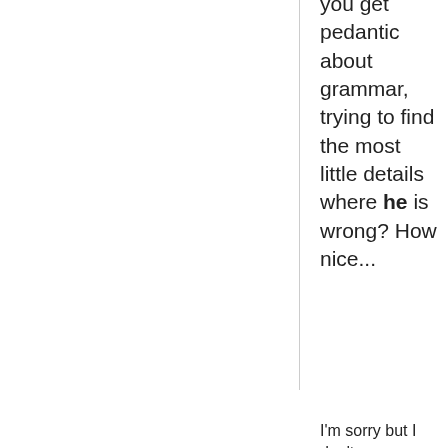you get pedantic about grammar, trying to find the most little details where he is wrong? How nice...
I'm sorry but I don't understand what